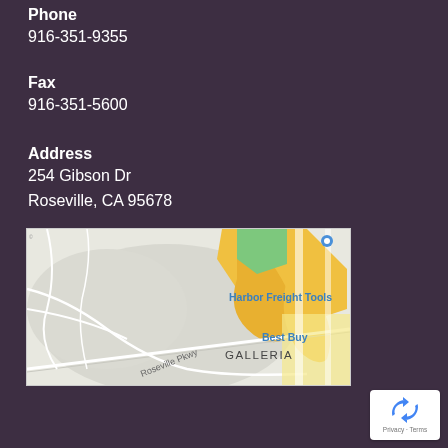Phone
916-351-9355
Fax
916-351-5600
Address
254 Gibson Dr
Roseville, CA 95678
[Figure (map): Google Maps showing the area around 254 Gibson Dr, Roseville, CA 95678. Landmarks visible include Harbor Freight Tools, Best Buy, and Galleria. Roseville Pkwy is labeled.]